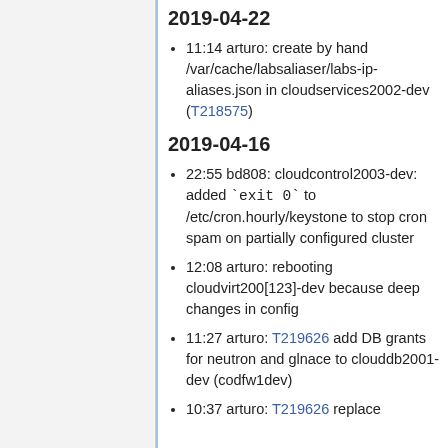2019-04-22
11:14 arturo: create by hand /var/cache/labsaliaser/labs-ip-aliases.json in cloudservices2002-dev (T218575)
2019-04-16
22:55 bd808: cloudcontrol2003-dev: added `exit 0` to /etc/cron.hourly/keystone to stop cron spam on partially configured cluster
12:08 arturo: rebooting cloudvirt200[123]-dev because deep changes in config
11:27 arturo: T219626 add DB grants for neutron and glnace to clouddb2001-dev (codfw1dev)
10:37 arturo: T219626 replace